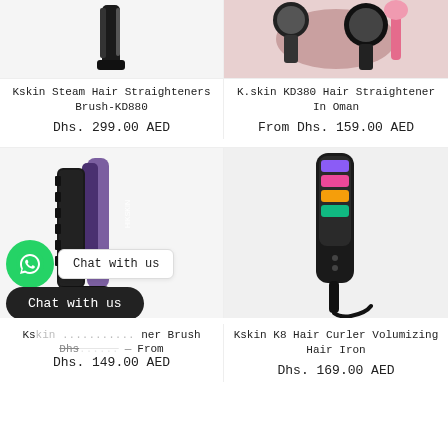[Figure (photo): Kskin Steam Hair Straighteners Brush-KD880 product image, top portion cut off showing device]
[Figure (photo): K.skin KD380 Hair Straightener In Oman product image, showing makeup brushes]
Kskin Steam Hair Straighteners Brush-KD880
Dhs. 299.00 AED
K.skin KD380 Hair Straightener In Oman
From Dhs. 159.00 AED
[Figure (photo): Kskin hair straightener brush product image with purple and black design, partially obscured by chat overlay]
[Figure (photo): Kskin K8 Hair Curler Volumizing Hair Iron product image, black device]
Kskin K8 Hair Curler Volumizing Hair Iron
Dhs. 169.00 AED
Chat with us
Chat with us
Kskin ... ner Brush
Dhs. ... — From Dhs. 149.00 AED